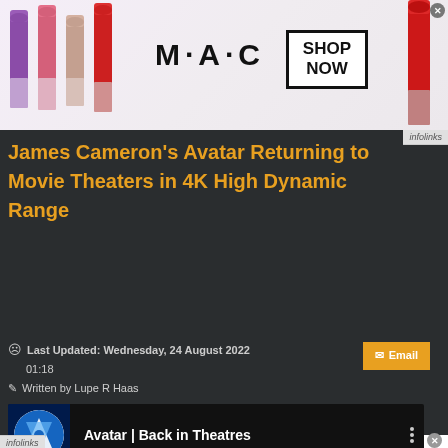[Figure (screenshot): MAC Cosmetics advertisement banner showing lipsticks on left, MAC logo in center, SHOP NOW box, and red lipstick on right]
James Cameron's Avatar Returning to Movie Theaters in 4K High Dynamic Range
Last Updated: Wednesday, 24 August 2022 01:18
Written by Lupe R Haas
Email
[Figure (screenshot): Embedded video thumbnail showing Avatar | Back in Theatres with Avatar logo circle and three dots menu]
[Figure (screenshot): Bloomingdale's advertisement: bloomingdales logo, View Today's Top Deals!, woman with hat, SHOP NOW > button]